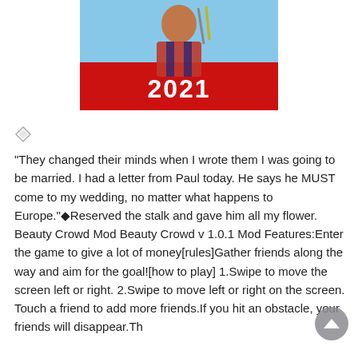[Figure (photo): Game promotional image showing a person in a plaid shirt with tools, number 2021 displayed on a red background with a light blue sky]
[Figure (other): Small diamond/edit icon]
"They changed their minds when I wrote them I was going to be married. I had a letter from Paul today. He says he MUST come to my wedding, no matter what happens to Europe."◆Reserved the stalk and gave him all my flower.
Beauty Crowd Mod Beauty Crowd v 1.0.1 Mod Features:Enter the game to give a lot of money[rules]Gather friends along the way and aim for the goal![how to play] 1.Swipe to move the screen left or right. 2.Swipe to move left or right on the screen. Touch a friend to add more friends.If you hit an obstacle, your friends will disappear.Th